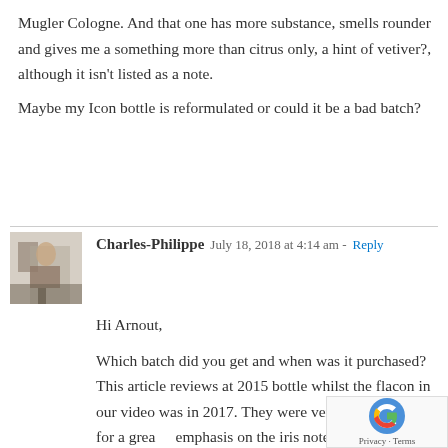Mugler Cologne. And that one has more substance, smells rounder and gives me a something more than citrus only, a hint of vetiver?, although it isn't listed as a note.
Maybe my Icon bottle is reformulated or could it be a bad batch?
Charles-Philippe  July 18, 2018 at 4:14 am - Reply
Hi Arnout,
Which batch did you get and when was it purchased? This article reviews at 2015 bottle whilst the flacon in our video was in 2017. They were very similar save for a greater emphasis on the iris notes in the heart.